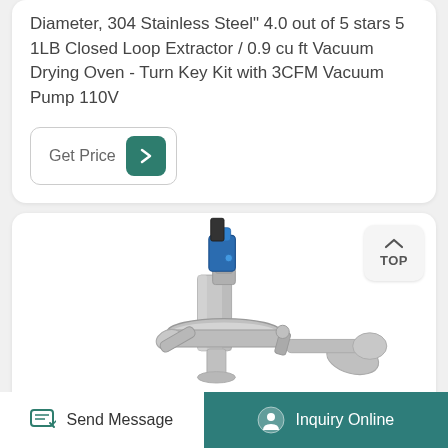Diameter, 304 Stainless Steel" 4.0 out of 5 stars 5 1LB Closed Loop Extractor / 0.9 cu ft Vacuum Drying Oven - Turn Key Kit with 3CFM Vacuum Pump 110V
Get Price
[Figure (photo): Close-up photo of a stainless steel closed loop extractor fitting with a blue clamp lever on top and tri-clamp collar, showing metallic silver hardware components.]
TOP
Send Message
Inquiry Online